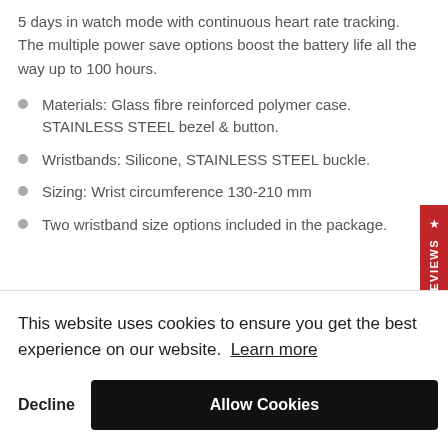5 days in watch mode with continuous heart rate tracking. The multiple power save options boost the battery life all the way up to 100 hours.
Materials: Glass fibre reinforced polymer case. STAINLESS STEEL bezel & button.
Wristbands: Silicone, STAINLESS STEEL buckle.
Sizing: Wrist circumference 130-210 mm
Two wristband size options included in the package.
This website uses cookies to ensure you get the best experience on our website. Learn more